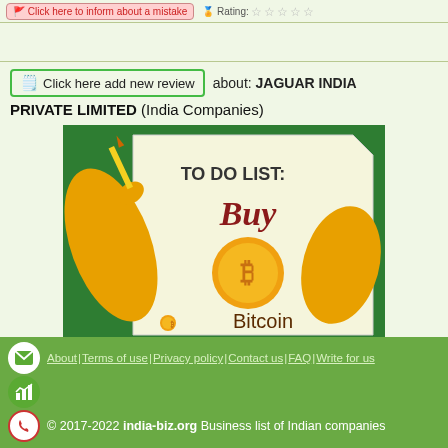Click here to inform about a mistake | Rating:
Click here add new review about: JAGUAR INDIA PRIVATE LIMITED (India Companies)
[Figure (illustration): Cartoon illustration showing orange hands holding a paper with 'TO DO LIST: Buy' written on it, with a Bitcoin logo coin and 'oBitcoin' text, on a green background.]
About | Terms of use | Privacy policy | Contact us | FAQ | Write for us
© 2017-2022 india-biz.org Business list of Indian companies